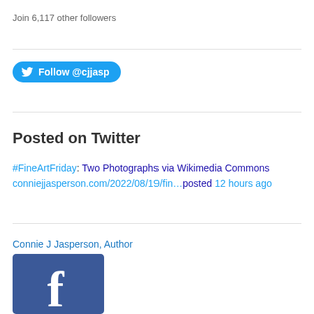Join 6,117 other followers
[Figure (logo): Twitter Follow @cjjasp button — blue rounded pill button with Twitter bird icon and text 'Follow @cjjasp']
Posted on Twitter
#FineArtFriday: Two Photographs via Wikimedia Commons conniejjasperson.com/2022/08/19/fin…posted 12 hours ago
Connie J Jasperson, Author
[Figure (logo): Facebook logo — blue square with white 'f' lettermark]